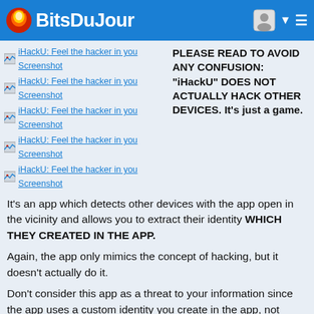Bits Du Jour
iHackU: Feel the hacker in you Screenshot
iHackU: Feel the hacker in you Screenshot
iHackU: Feel the hacker in you Screenshot
iHackU: Feel the hacker in you Screenshot
iHackU: Feel the hacker in you Screenshot
PLEASE READ TO AVOID ANY CONFUSION: "iHackU" DOES NOT ACTUALLY HACK OTHER DEVICES. It's just a game.
It's an app which detects other devices with the app open in the vicinity and allows you to extract their identity WHICH THEY CREATED IN THE APP.
Again, the app only mimics the concept of hacking, but it doesn't actually do it.
Don't consider this app as a threat to your information since the app uses a custom identity you create in the app, not outside of it.